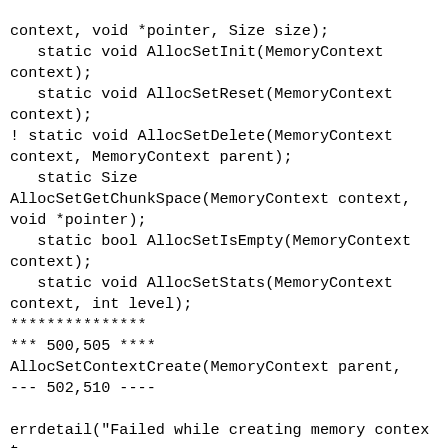context, void *pointer, Size size);
   static void AllocSetInit(MemoryContext context);
   static void AllocSetReset(MemoryContext context);
! static void AllocSetDelete(MemoryContext context, MemoryContext parent);
   static Size AllocSetGetChunkSpace(MemoryContext context, void *pointer);
   static bool AllocSetIsEmpty(MemoryContext context);
   static void AllocSetStats(MemoryContext context, int level);
***************
*** 500,505 ****
AllocSetContextCreate(MemoryContext parent,
--- 502,510 ----

errdetail("Failed while creating memory context \"%s\".",

name)));
}